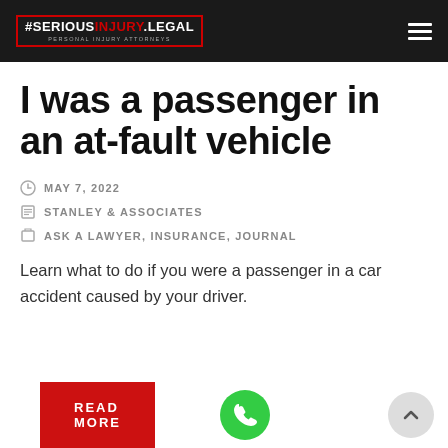SERIOUSINJURY.LEGAL — PERSONAL INJURY ATTORNEYS
I was a passenger in an at-fault vehicle
MAY 7, 2022
STANLEY & ASSOCIATES
ASK A LAWYER, INSURANCE, JOURNAL
Learn what to do if you were a passenger in a car accident caused by your driver.
READ MORE